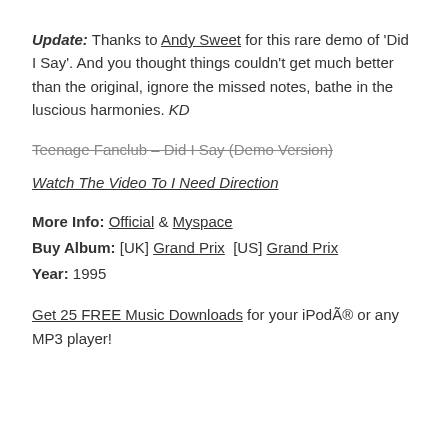Update: Thanks to Andy Sweet for this rare demo of 'Did I Say'. And you thought things couldn't get much better than the original, ignore the missed notes, bathe in the luscious harmonies. KD
Teenage Fanclub – Did I Say (Demo Version)
Watch The Video To I Need Direction
More Info: Official & Myspace
Buy Album: [UK] Grand Prix [US] Grand Prix
Year: 1995
Get 25 FREE Music Downloads for your iPodÃ® or any MP3 player!